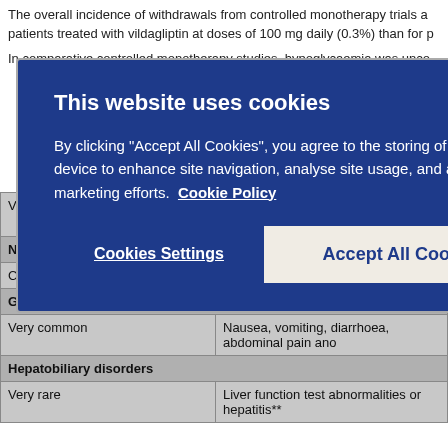The overall incidence of withdrawals from controlled monotherapy trials and patients treated with vildagliptin at doses of 100 mg daily (0.3%) than for p
In comparative controlled monotherapy studies, hypoglycaemia was unco
[Figure (screenshot): Cookie consent modal dialog with dark blue background. Title: 'This website uses cookies'. Body text: 'By clicking "Accept All Cookies", you agree to the storing of cookies on your device to enhance site navigation, analyse site usage, and assist in our marketing efforts. Cookie Policy'. Two buttons: 'Cookies Settings' (text link style) and 'Accept All Cookies' (light button).]
| Frequency | Adverse reaction |
| --- | --- |
| Very rare | Decrease of vitamin B12 absorption and lactic aci |
| Nervous system disorders |  |
| Common | Metallic taste |
| Gastrointestinal disorders |  |
| Very common | Nausea, vomiting, diarrhoea, abdominal pain ano |
| Hepatobiliary disorders |  |
| Very rare | Liver function test abnormalities or hepatitis** |